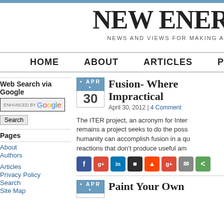NEW ENER
NEWS AND VIEWS FOR MAKING AN
HOME   ABOUT   ARTICLES   P
Web Search via Google
ENHANCED BY Google
Search
Pages
About
Authors
Articles
Privacy Policy
Search
Site Map
Fusion- Where Impractical
April 30, 2012 | 4 Comment
The ITER project, an acronym for Inter... remains a project seeks to do the poss... humanity can accomplish fusion in a qu... reactions that don't produce useful am...
Paint Your Own